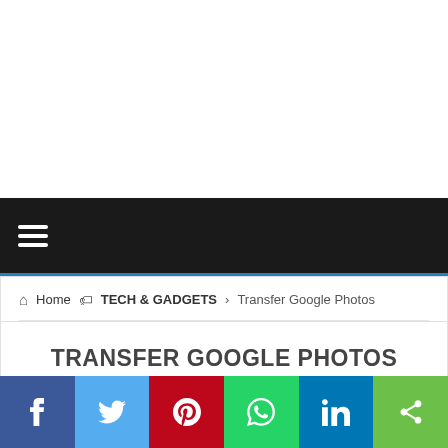≡ (navigation menu bar)
Home > TECH & GADGETS > Transfer Google Photos
TRANSFER GOOGLE PHOTOS FROM ONE ACCOUNT
Social share buttons: Facebook, Twitter, Pinterest, WhatsApp, LinkedIn, Share